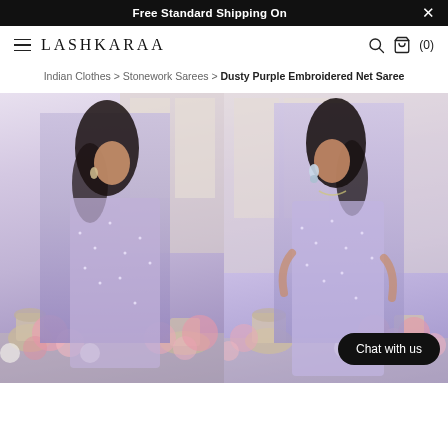Free Standard Shipping On ×
LASHKARAA
Indian Clothes > Stonework Sarees > Dusty Purple Embroidered Net Saree
[Figure (photo): Two photos side by side of a female model wearing a dusty purple embroidered net saree with sequin embellishments, posed in front of floral arrangements with pink and white flowers in decorative urns. Left photo shows model looking down, right photo shows model facing forward with hands on hip.]
Chat with us